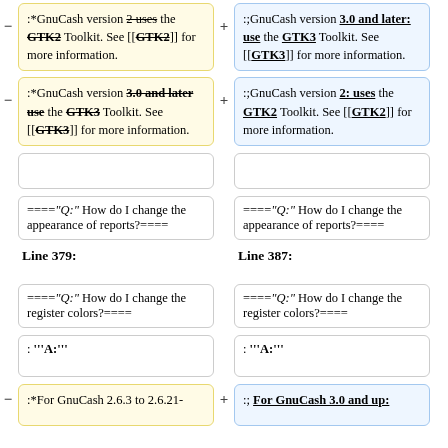:*GnuCash version 2 uses the GTK2 Toolkit. See [[GTK2]] for more information.
:;GnuCash version 3.0 and later: use the GTK3 Toolkit. See [[GTK3]] for more information.
:*GnuCash version 3.0 and later use the GTK3 Toolkit. See [[GTK3]] for more information.
:;GnuCash version 2: uses the GTK2 Toolkit. See [[GTK2]] for more information.
====''Q:'' How do I change the appearance of reports?====
====''Q:'' How do I change the appearance of reports?====
Line 379:
Line 387:
====''Q:'' How do I change the register colors?====
====''Q:'' How do I change the register colors?====
: '''A:'''
: '''A:'''
:*For GnuCash 2.6.3 to 2.6.21-
:; For GnuCash 3.0 and up: